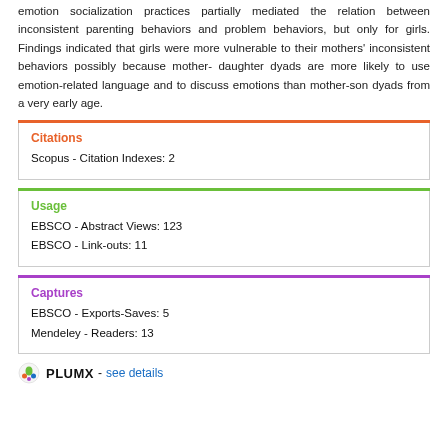emotion socialization practices partially mediated the relation between inconsistent parenting behaviors and problem behaviors, but only for girls. Findings indicated that girls were more vulnerable to their mothers' inconsistent behaviors possibly because mother-daughter dyads are more likely to use emotion-related language and to discuss emotions than mother-son dyads from a very early age.
Citations
Scopus - Citation Indexes: 2
Usage
EBSCO - Abstract Views: 123
EBSCO - Link-outs: 11
Captures
EBSCO - Exports-Saves: 5
Mendeley - Readers: 13
PLUMX - see details